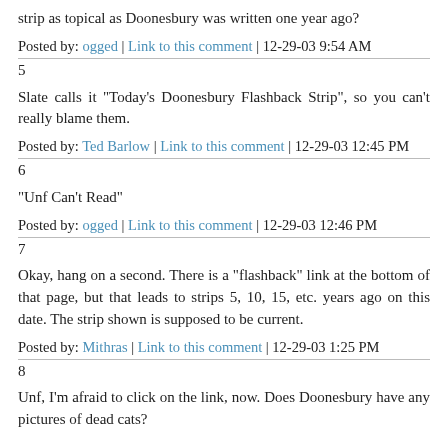strip as topical as Doonesbury was written one year ago?
Posted by: ogged | Link to this comment | 12-29-03 9:54 AM
5
Slate calls it "Today's Doonesbury Flashback Strip", so you can't really blame them.
Posted by: Ted Barlow | Link to this comment | 12-29-03 12:45 PM
6
"Unf Can't Read"
Posted by: ogged | Link to this comment | 12-29-03 12:46 PM
7
Okay, hang on a second. There is a "flashback" link at the bottom of that page, but that leads to strips 5, 10, 15, etc. years ago on this date. The strip shown is supposed to be current.
Posted by: Mithras | Link to this comment | 12-29-03 1:25 PM
8
Unf, I'm afraid to click on the link, now. Does Doonesbury have any pictures of dead cats?